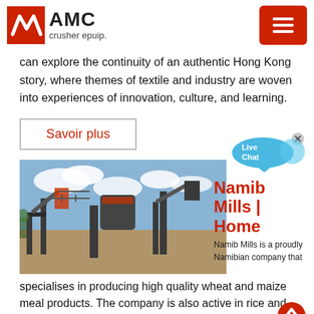AMC crusher epuip.
can explore the continuity of an authentic Hong Kong story, where themes of textile and industry are woven into experiences of innovation, culture, and learning.
Savoir plus
[Figure (photo): Industrial mining/crushing equipment with conveyors and structural steel under a partly cloudy sky.]
Namib Mills | Home
Namib Mills is a proudly Namibian company that specialises in producing high quality wheat and maize meal products. The company is also active in rice and sugar packaging,